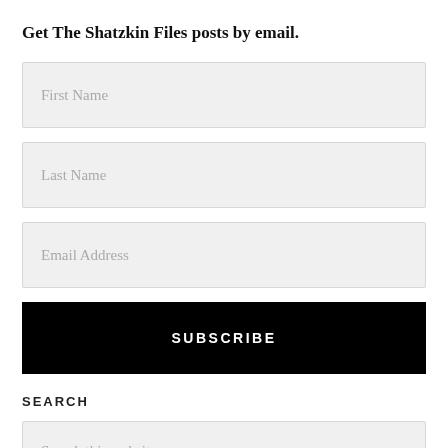Get The Shatzkin Files posts by email.
First Name
Last Name
Email Address
SUBSCRIBE
SEARCH
Search this website